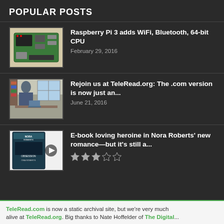POPULAR POSTS
Raspberry Pi 3 adds WiFi, Bluetooth, 64-bit CPU — February 29, 2016
Rejoin us at TeleRead.org: The .com version is now just an... — June 21, 2016
E-book loving heroine in Nora Roberts' new romance—but it's still a... — 3 stars out of 5
TeleRead.com is now a static archival site, but we're very much alive at TeleRead.org. Big thanks to Nate Hoffelder of The Digital...